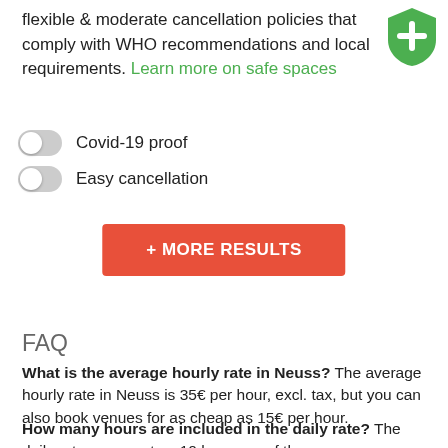flexible & moderate cancellation policies that comply with WHO recommendations and local requirements. Learn more on safe spaces
[Figure (illustration): Green shield icon with white plus sign]
Covid-19 proof
Easy cancellation
+ MORE RESULTS
FAQ
What is the average hourly rate in Neuss? The average hourly rate in Neuss is 35€ per hour, excl. tax, but you can also book venues for as cheap as 15€ per hour.
How many hours are included in the daily rate? The daily rate represents a 10 hour use of the space on